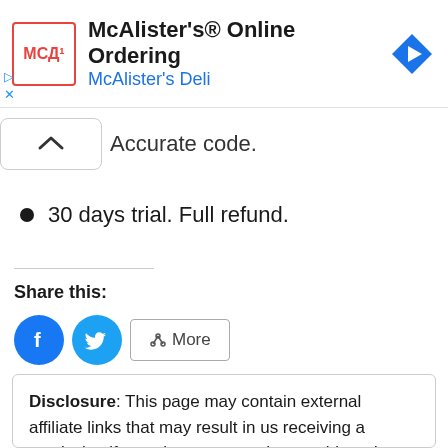[Figure (screenshot): McAlister's Deli advertisement banner with logo, title 'McAlister's® Online Ordering', subtitle 'McAlister's Deli', and a blue navigation icon]
Accurate code.
30 days trial. Full refund.
Share this:
[Figure (illustration): Share buttons: Facebook (blue circle with f icon), Twitter (blue circle with bird icon), and More button with share icon]
Disclosure: This page may contain external affiliate links that may result in us receiving a comission if you choose to purchase said product. The opinions on